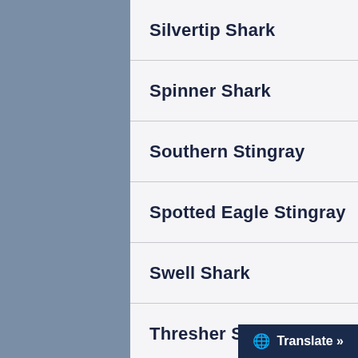Silvertip Shark
Spinner Shark
Southern Stingray
Spotted Eagle Stingray
Swell Shark
Thresher Shark
Tiger Shark
Whale Shark
Whitetip Reef Shark